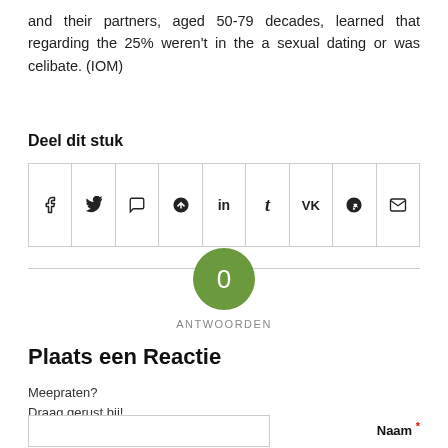and their partners, aged 50-79 decades, learned that regarding the 25% weren't in the a sexual dating or was celibate. (IOM)
Deel dit stuk
[Figure (other): Social share buttons row: Facebook, Twitter, WhatsApp, Pinterest, LinkedIn, Tumblr, VK, Reddit, Email]
[Figure (other): Green circle badge with number 0 and label ANTWOORDEN]
Plaats een Reactie
Meepraten?
Draag gerust bij!
Naam *